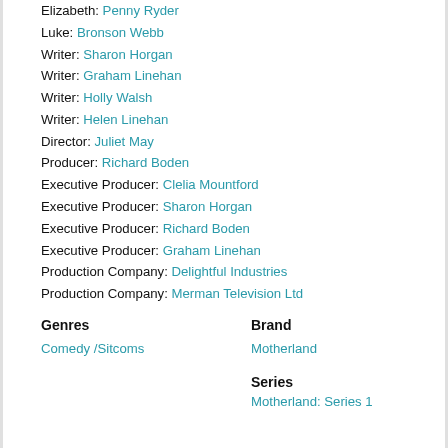Elizabeth: Penny Ryder
Luke: Bronson Webb
Writer: Sharon Horgan
Writer: Graham Linehan
Writer: Holly Walsh
Writer: Helen Linehan
Director: Juliet May
Producer: Richard Boden
Executive Producer: Clelia Mountford
Executive Producer: Sharon Horgan
Executive Producer: Richard Boden
Executive Producer: Graham Linehan
Production Company: Delightful Industries
Production Company: Merman Television Ltd
Genres
Brand
Comedy / Sitcoms
Motherland
Series
Motherland: Series 1